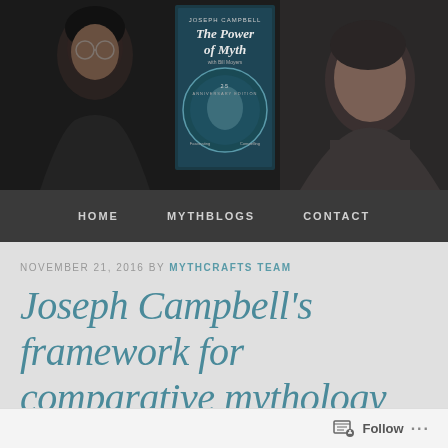[Figure (photo): Header image showing two men in conversation (Bill Moyers and Joseph Campbell) with a book cover for 'The Power of Myth 25th Anniversary Edition' by Joseph Campbell in the center background]
HOME   MYTHBLOGS   CONTACT
NOVEMBER 21, 2016 BY MYTHCRAFTS TEAM
Joseph Campbell's framework for comparative mythology
Follow ...